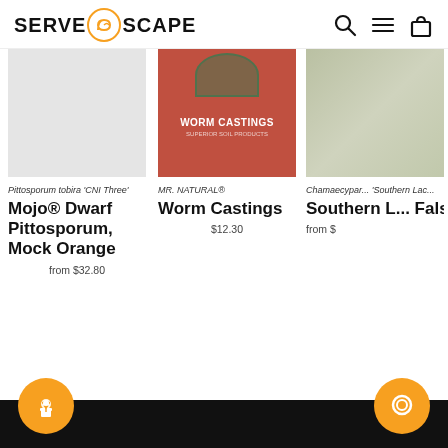SERVE [logo] SCAPE
[Figure (screenshot): Product listing page for ServeScape showing three product cards: Mojo Dwarf Pittosporum Mock Orange, Worm Castings, and Southern Lad False Cypress]
Pittosporum tobira 'CNI Three'
Mojo® Dwarf Pittosporum, Mock Orange
from $32.80
MR. NATURAL®
Worm Castings
$12.30
Chamaecyparis 'Southern Lad'
Southern Lad False Cypress
from $
[plant icon button] [chat icon button]